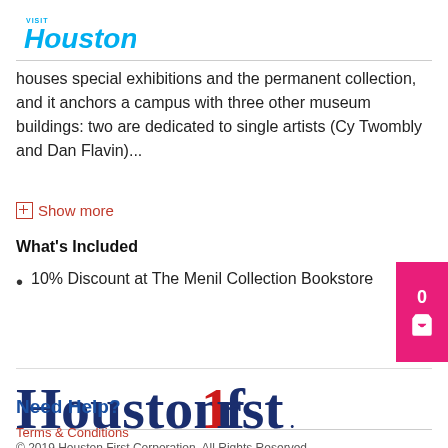VISIT Houston
houses special exhibitions and the permanent collection, and it anchors a campus with three other museum buildings: two are dedicated to single artists (Cy Twombly and Dan Flavin)...
+ Show more
What's Included
10% Discount at The Menil Collection Bookstore
[Figure (logo): Houstonfirst logo with stylized text]
Need Help?
Terms & Conditions
© 2019 Houston First Corporation, All Rights Reserved